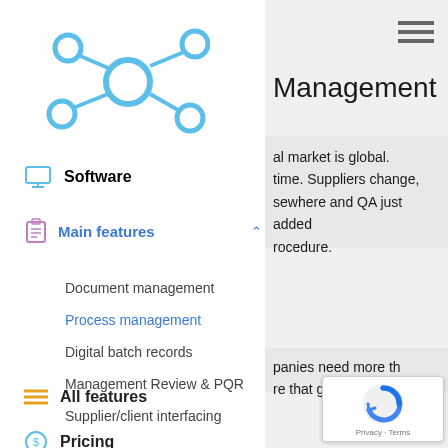[Figure (logo): Network/hub icon in light blue — central node with 4 connected nodes]
Software
Main features (expanded, chevron up)
Document management
Process management
Digital batch records
Management Review & PQR
Supplier/client interfacing
All features
Pricing
Management
al market is global. time. Suppliers change, sewhere and QA just added rocedure.
panies need more th re that grows with your
[Figure (logo): Google reCAPTCHA badge with Privacy and Terms links]